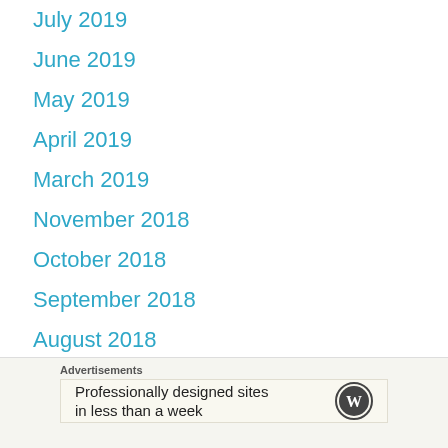July 2019
June 2019
May 2019
April 2019
March 2019
November 2018
October 2018
September 2018
August 2018
July 2018
June 2018
Advertisements
Professionally designed sites in less than a week